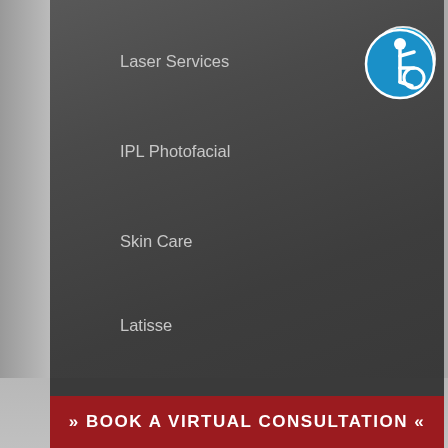Laser Services
IPL Photofacial
Skin Care
Latisse
Non-Surgical Before & After Photos
Rhinoplasty
Facial Surgery
[Figure (logo): Wheelchair accessibility icon — blue circle with white wheelchair user symbol]
» BOOK A VIRTUAL CONSULTATION «